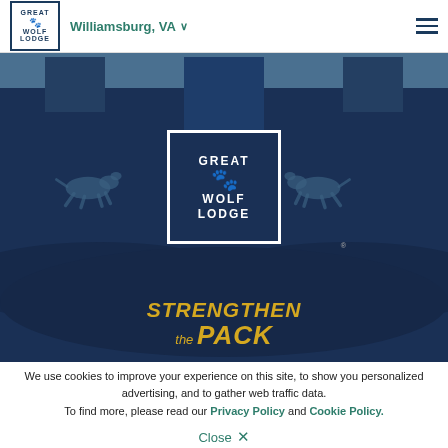[Figure (screenshot): Great Wolf Lodge navigation bar with logo, Williamsburg VA location selector, and hamburger menu icon]
[Figure (illustration): Great Wolf Lodge hero banner with dark navy background, wolf silhouettes running, large Great Wolf Lodge logo in center with white border, and 'Strengthen the Pack' text in gold at bottom]
We use cookies to improve your experience on this site, to show you personalized advertising, and to gather web traffic data. To find more, please read our Privacy Policy and Cookie Policy.
Close ×